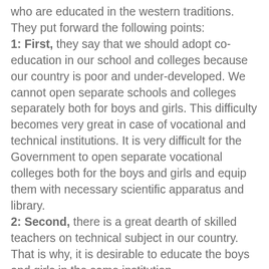who are educated in the western traditions. They put forward the following points:
1: First, they say that we should adopt co-education in our school and colleges because our country is poor and under-developed. We cannot open separate schools and colleges separately both for boys and girls. This difficulty becomes very great in case of vocational and technical institutions. It is very difficult for the Government to open separate vocational colleges both for the boys and girls and equip them with necessary scientific apparatus and library.
2: Second, there is a great dearth of skilled teachers on technical subject in our country. That is why, it is desirable to educate the boys and girls in the same institution.
3: Third there is another advantage of co-education, the boys and girls have to play an important part in their practical life in the national progress of their country. They begin to have an